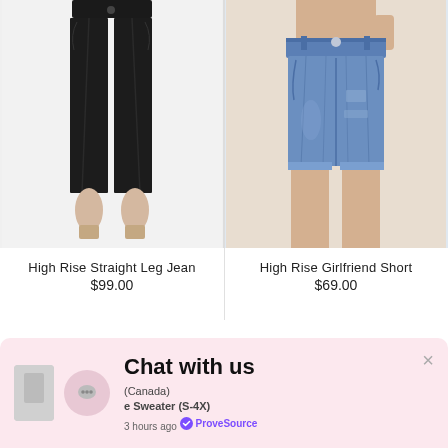[Figure (photo): Woman wearing black high rise straight leg jeans, cropped at ankle, shown from waist down on white background]
High Rise Straight Leg Jean
$99.00
[Figure (photo): Woman wearing blue denim high rise girlfriend shorts, shown from waist down, hand in pocket]
High Rise Girlfriend Short
$69.00
[Figure (screenshot): Chat with us widget overlay — pink background, chat bubble icon, title 'Chat with us', notification text about Canada and Sweater (S-4X), '3 hours ago ProveSource', X close button]